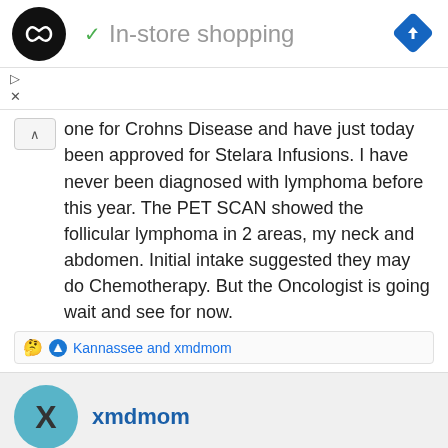[Figure (logo): Black circle logo with infinity/double-loop symbol, checkmark icon, 'In-store shopping' text, and blue diamond navigation icon]
▷
✕
…one for Crohns Disease and have just today been approved for Stelara Infusions. I have never been diagnosed with lymphoma before this year. The PET SCAN showed the follicular lymphoma in 2 areas, my neck and abdomen. Initial intake suggested they may do Chemotherapy. But the Oncologist is going wait and see for now.
🤔 👍 Kannassee and xmdmom
xmdmom
Dec 2, 2021
#10
I just googled and learned about "active monitoring" without treatment for some early lymphoma. I had never heard of that